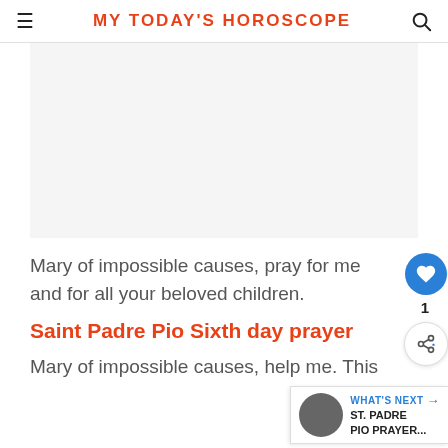MY TODAY'S HOROSCOPE
[Figure (other): Advertisement placeholder area with light gray background]
Mary of impossible causes, pray for me and for all your beloved children.
Saint Padre Pio Sixth day prayer
Mary of impossible causes, help me. This